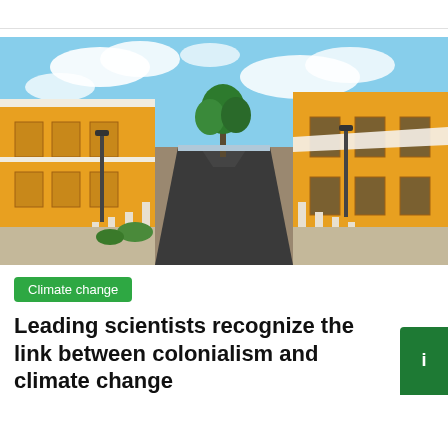[Figure (photo): A straight road lined with yellow colonial-style buildings on both sides, white pillar bollards along the road edges, lamp posts, and tropical trees in the background under a partly cloudy blue sky.]
Climate change
Leading scientists recognize the link between colonialism and climate change